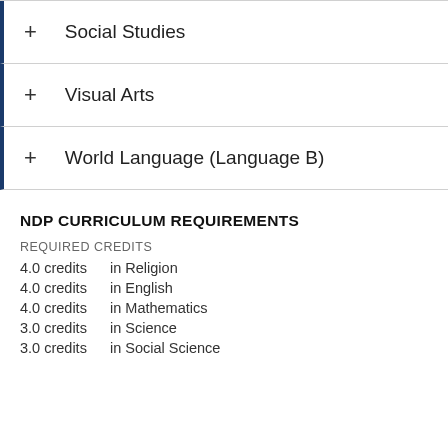+ Social Studies
+ Visual Arts
+ World Language (Language B)
NDP CURRICULUM REQUIREMENTS
REQUIRED CREDITS
4.0 credits   in Religion
4.0 credits   in English
4.0 credits   in Mathematics
3.0 credits   in Science
3.0 credits   in Social Science